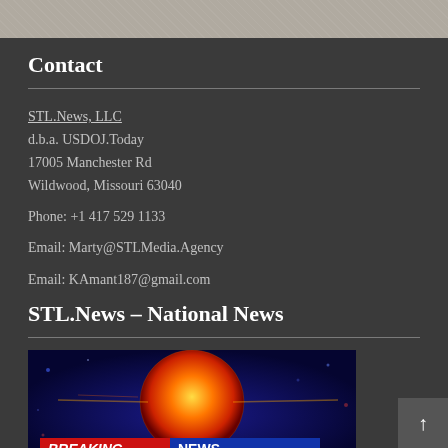[Figure (other): Top textured gray/beige banner strip]
Contact
STL.News, LLC
d.b.a. USDOJ.Today
17005 Manchester Rd
Wildwood, Missouri 63040

Phone: +1 417 529 1133

Email: Marty@STLMedia.Agency

Email: KAmant187@gmail.com
STL.News – National News
[Figure (photo): Breaking news banner image with a glowing orange globe on blue background, with 'BREAKING NEWS' text overlay in red and blue]